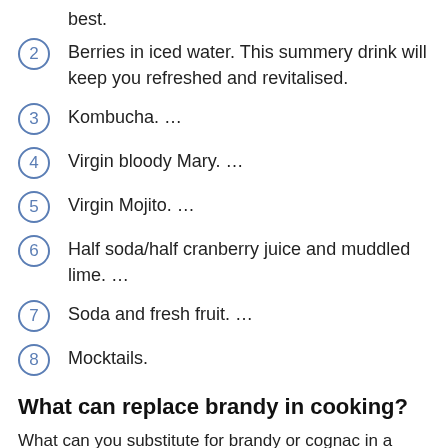best.
2  Berries in iced water. This summery drink will keep you refreshed and revitalised.
3  Kombucha. …
4  Virgin bloody Mary. …
5  Virgin Mojito. …
6  Half soda/half cranberry juice and muddled lime. …
7  Soda and fresh fruit. …
8  Mocktails.
What can replace brandy in cooking?
What can you substitute for brandy or cognac in a recipe? To replace brandy in cooking, you can use sherry or white wine. You can use brandy extract or the juice from peach, apricot,